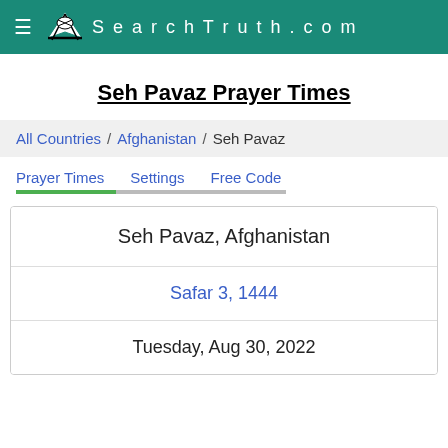SearchTruth.com
Seh Pavaz Prayer Times
All Countries / Afghanistan / Seh Pavaz
Prayer Times   Settings   Free Code
Seh Pavaz, Afghanistan
Safar 3, 1444
Tuesday, Aug 30, 2022